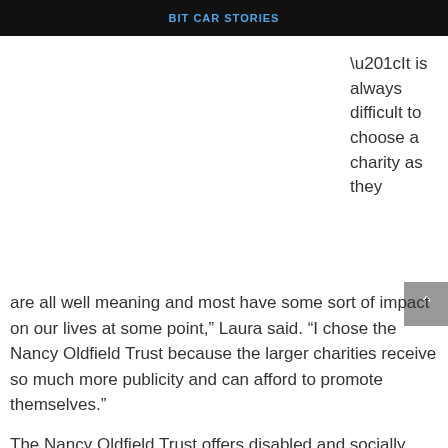BIT CAR STORIES
“It is always difficult to choose a charity as they are all well meaning and most have some sort of impact on our lives at some point,” Laura said. “I chose the Nancy Oldfield Trust because the larger charities receive so much more publicity and can afford to promote themselves.”
The Nancy Oldfield Trust offers disabled and socially